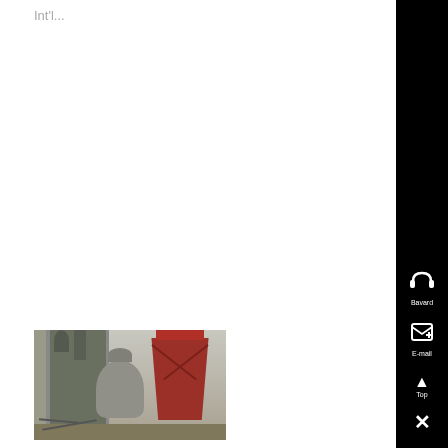Int'l...
[Figure (photo): Industrial facility with silos, tanks, and red hopper/funnel structures, metal framework, outdoor setting]
US Office of Personnel Management